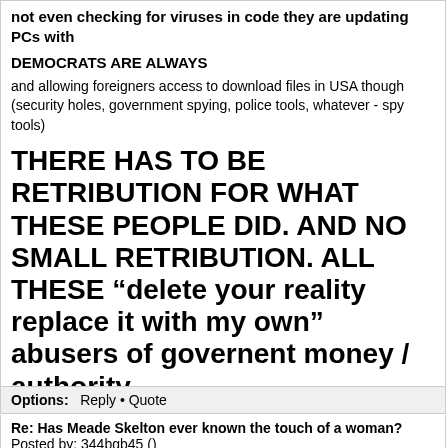not even checking for viruses in code they are updating PCs with
DEMOCRATS ARE ALWAYS
and allowing foreigners access to download files in USA though (security holes, government spying, police tools, whatever - spy tools)
THERE HAS TO BE RETRIBUTION FOR WHAT THESE PEOPLE DID. AND NO SMALL RETRIBUTION. ALL THESE "delete your reality replace it with my own" abusers of governent money / authority
THEY THREATENED MY LIFE - THEY RAN OFF WITH A KILLING.
AND ALL OF IT IS EASILY PROVEN
Options: Reply • Quote
Re: Has Meade Skelton ever known the touch of a woman?
Posted by: 344bgb45 ()